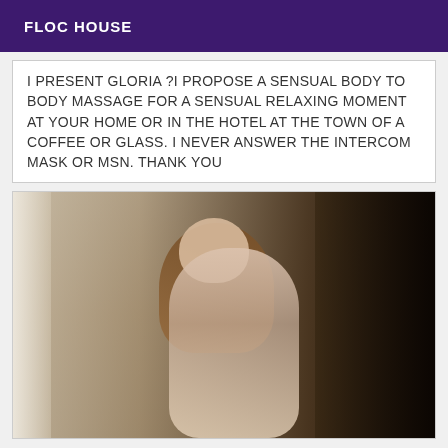FLOC HOUSE
I PRESENT GLORIA ?I PROPOSE A SENSUAL BODY TO BODY MASSAGE FOR A SENSUAL RELAXING MOMENT AT YOUR HOME OR IN THE HOTEL AT THE TOWN OF A COFFEE OR GLASS. I NEVER ANSWER THE INTERCOM MASK OR MSN. THANK YOU
[Figure (photo): A woman with long blonde hair wearing a lace bodysuit, standing in a doorway with dark background on the right and white curtain on the left.]